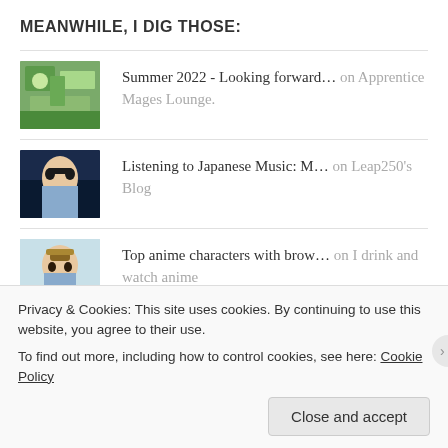MEANWHILE, I DIG THOSE:
Summer 2022 - Looking forward... on Apprentice Mages Lounge.
Listening to Japanese Music: M... on Leap250's Blog
Top anime characters with brow... on I drink and watch anime
RECENT COMMENTS
Privacy & Cookies: This site uses cookies. By continuing to use this website, you agree to their use.
To find out more, including how to control cookies, see here: Cookie Policy